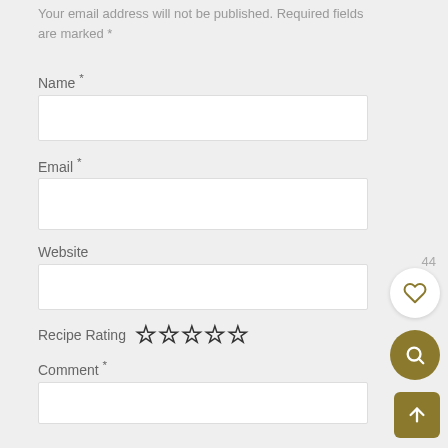Your email address will not be published. Required fields are marked *
Name *
Email *
Website
Recipe Rating ☆☆☆☆☆
Comment *